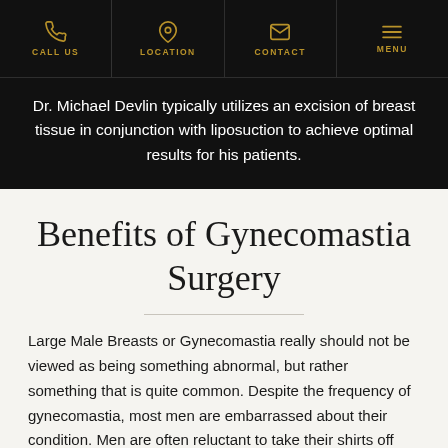CALL US | LOCATION | CONTACT | MENU
Dr. Michael Devlin typically utilizes an excision of breast tissue in conjunction with liposuction to achieve optimal results for his patients.
Benefits of Gynecomastia Surgery
Large Male Breasts or Gynecomastia really should not be viewed as being something abnormal, but rather something that is quite common. Despite the frequency of gynecomastia, most men are embarrassed about their condition. Men are often reluctant to take their shirts off